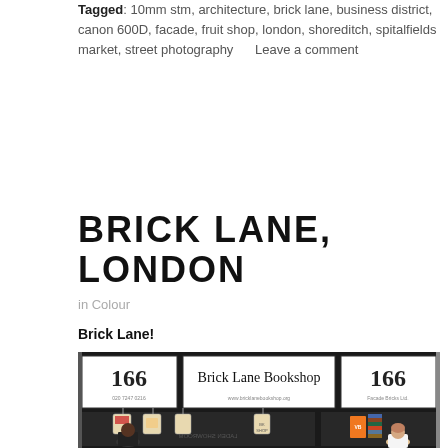Tagged: 10mm stm, architecture, brick lane, business district, canon 600D, facade, fruit shop, london, shoreditch, spitalfields market, street photography    Leave a comment
BRICK LANE, LONDON
in Colour
Brick Lane!
[Figure (photo): Colour photograph of the Brick Lane Bookshop storefront at 166 Brick Lane, London. The shop has a dark facade with three white panels above the windows: the number 166 on the left, 'Brick Lane Bookshop' in the centre, and 166 again on the right. Canvas tote bags hang in the shop windows. A woman in a white jacket is visible in the lower right, and other pedestrians are seen near the entrance.]